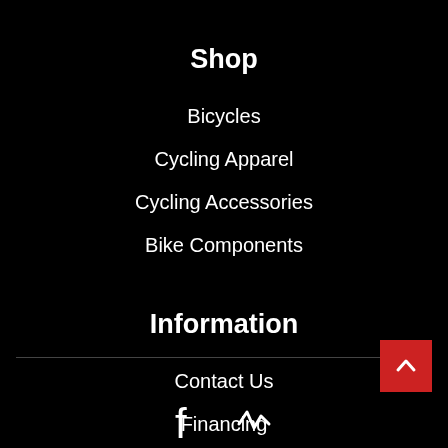Shop
Bicycles
Cycling Apparel
Cycling Accessories
Bike Components
Information
Contact Us
Financing
[Figure (illustration): Red back-to-top button with upward chevron arrow, positioned bottom-right]
[Figure (illustration): Social media icons: Facebook and a cycling/activity app icon, centered at bottom]